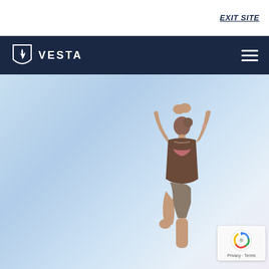EXIT SITE
[Figure (logo): Vesta logo with shield/flame icon and VESTA text on dark navy navigation bar with hamburger menu]
[Figure (photo): Woman in yoga pose (tree pose) against a light blue sky background, viewed from behind, arms raised overhead with hands pressed together, wearing brown top and shorts]
[Figure (other): reCAPTCHA badge showing Google reCAPTCHA icon with Privacy and Terms text]